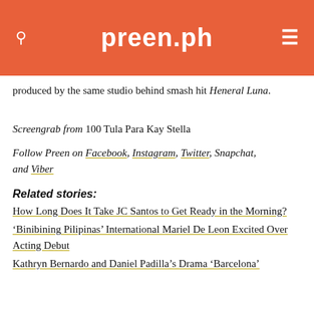preen.ph
produced by the same studio behind smash hit Heneral Luna.
Screengrab from 100 Tula Para Kay Stella
Follow Preen on Facebook, Instagram, Twitter, Snapchat, and Viber
Related stories:
How Long Does It Take JC Santos to Get Ready in the Morning?
‘Binibining Pilipinas’ International Mariel De Leon Excited Over Acting Debut
Kathryn Bernardo and Daniel Padilla’s Drama ‘Barcelona’